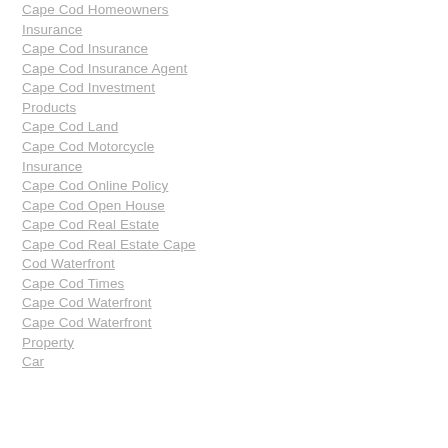Cape Cod Homeowners Insurance
Cape Cod Insurance
Cape Cod Insurance Agent
Cape Cod Investment Products
Cape Cod Land
Cape Cod Motorcycle Insurance
Cape Cod Online Policy
Cape Cod Open House
Cape Cod Real Estate
Cape Cod Real Estate Cape Cod Waterfront
Cape Cod Times
Cape Cod Waterfront
Cape Cod Waterfront Property
Car